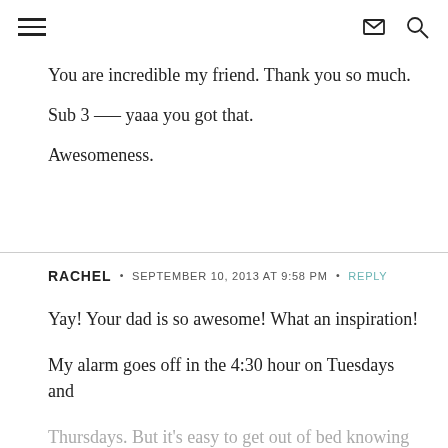≡  ✉ 🔍
You are incredible my friend. Thank you so much.
Sub 3 —– yaaa you got that.
Awesomeness.
RACHEL · SEPTEMBER 10, 2013 AT 9:58 PM · REPLY
Yay! Your dad is so awesome! What an inspiration!

My alarm goes off in the 4:30 hour on Tuesdays and Thursdays. But it's easy to get out of bed knowing that by 7:30 that night I won't have to stop by the